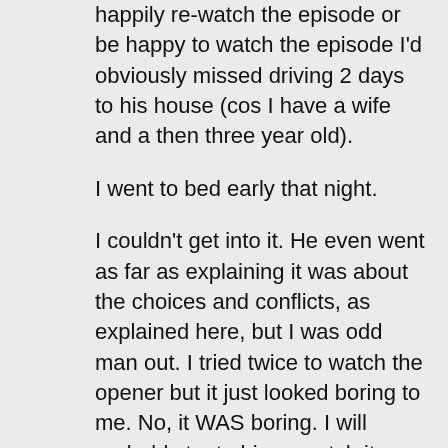happily re-watch the episode or be happy to watch the episode I'd obviously missed driving 2 days to his house (cos I have a wife and a then three year old).
I went to bed early that night.
I couldn't get into it. He even went as far as explaining it was about the choices and conflicts, as explained here, but I was odd man out. I tried twice to watch the opener but it just looked boring to me. No, it WAS boring. I will probably try to binge watch it one day but only because I have a hard time believing so much of America (and Canada, I guess, Jenny) is wrong and I'm right about a TV show.